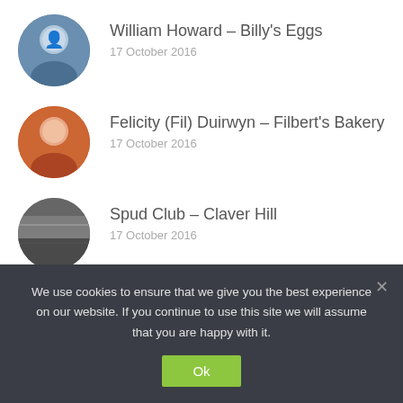William Howard – Billy's Eggs
17 October 2016
Felicity (Fil) Duirwyn – Filbert's Bakery
17 October 2016
Spud Club – Claver Hill
17 October 2016
Rory Walker – The Borough Brewery
17 October 2016
The Faces Behind Our Food – Introduction
28 September 2016
We use cookies to ensure that we give you the best experience on our website. If you continue to use this site we will assume that you are happy with it.